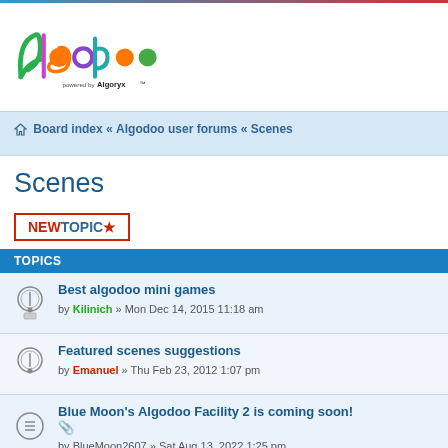[Figure (logo): Algodoo logo with colorful letters and 'powered by Algoryx' text]
Board index « Algodoo user forums « Scenes
Scenes
NEWTOPIC ★
TOPICS
Best algodoo mini games by Kilinich » Mon Dec 14, 2015 11:18 am
Featured scenes suggestions by Emanuel » Thu Feb 23, 2012 1:07 pm
Blue Moon's Algodoo Facility 2 is coming soon! by BlueMoon2607 » Sat Aug 13, 2022 1:25 pm